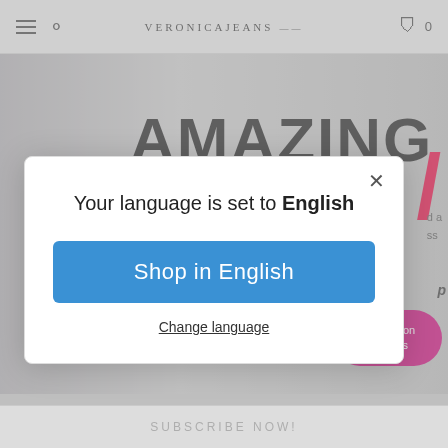[Figure (screenshot): Website screenshot of VeronicaJeans.com showing a top navigation bar with hamburger menu, search icon, logo, cart icon with count 0, and a background hero image with 'AMAZING' text in large font and a red slash element.]
Your language is set to English
Shop in English
Change language
Chatea con nosotros
SUBSCRIBE NOW!